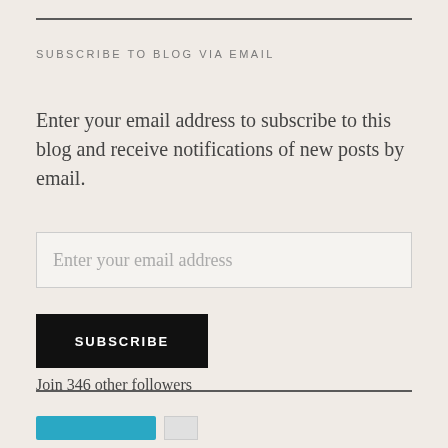SUBSCRIBE TO BLOG VIA EMAIL
Enter your email address to subscribe to this blog and receive notifications of new posts by email.
Enter your email address
SUBSCRIBE
Join 346 other followers